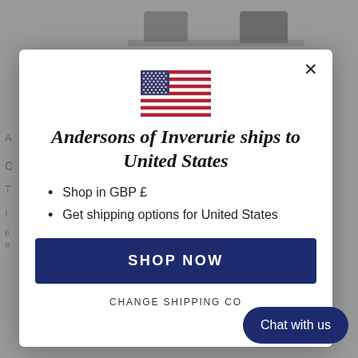[Figure (screenshot): Background of a furniture website page with dim overlay, partially visible behind a modal dialog]
[Figure (illustration): US flag SVG illustration centered in the modal]
Andersons of Inverurie ships to United States
Shop in GBP £
Get shipping options for United States
SHOP NOW
CHANGE SHIPPING CO...
Chat with us